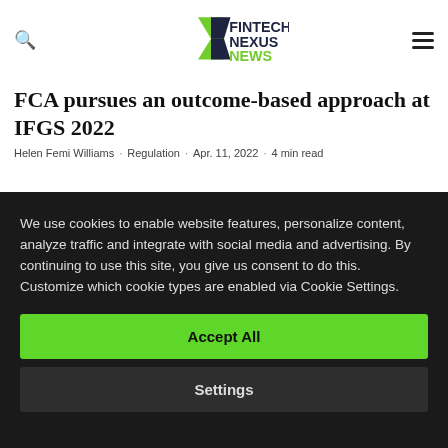Fintech Nexus News
FCA pursues an outcome-based approach at IFGS 2022
Helen Femi Williams · Regulation · Apr. 11, 2022 · 4 min read
We use cookies to enable website features, personalize content, analyze traffic and integrate with social media and advertising. By continuing to use this site, you give us consent to do this. Customize which cookie types are enabled via Cookie Settings.
Accept All
Settings